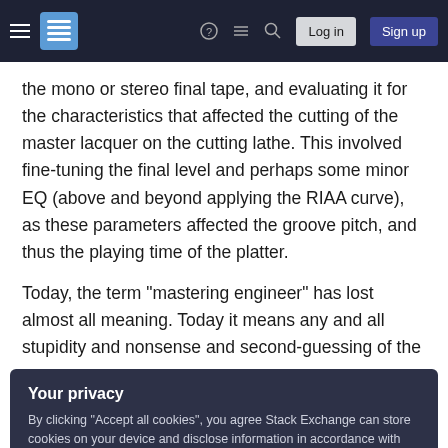Stack Exchange navigation bar with hamburger menu, logo, help, chat, search icons, Log in and Sign up buttons
the mono or stereo final tape, and evaluating it for the characteristics that affected the cutting of the master lacquer on the cutting lathe. This involved fine-tuning the final level and perhaps some minor EQ (above and beyond applying the RIAA curve), as these parameters affected the groove pitch, and thus the playing time of the platter.
Today, the term "mastering engineer" has lost almost all meaning. Today it means any and all stupidity and nonsense and second-guessing of the
Your privacy
By clicking "Accept all cookies", you agree Stack Exchange can store cookies on your device and disclose information in accordance with our Cookie Policy.
Accept all cookies   Customize settings
"remixing."